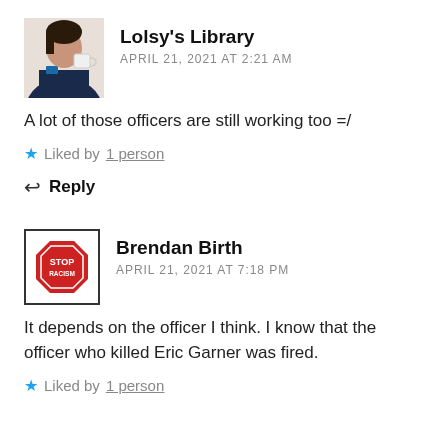[Figure (photo): Avatar photo of Lolsy's Library commenter - woman holding a cup]
Lolsy's Library
APRIL 21, 2021 AT 2:21 AM
A lot of those officers are still working too =/
Liked by 1 person
Reply
[Figure (logo): Stop sign icon avatar for Brendan Birth commenter]
Brendan Birth
APRIL 21, 2021 AT 7:18 PM
It depends on the officer I think. I know that the officer who killed Eric Garner was fired.
Liked by 1 person